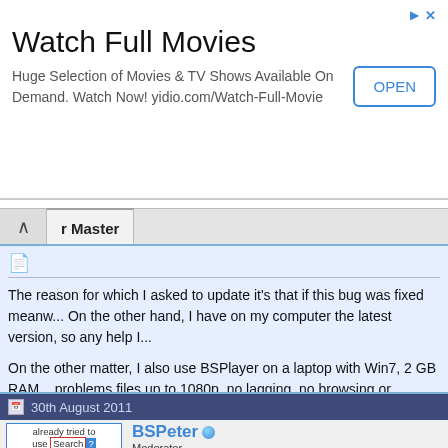[Figure (screenshot): Advertisement banner for 'Watch Full Movies' with OPEN button]
Watch Full Movies
Huge Selection of Movies & TV Shows Available On Demand. Watch Now! yidio.com/Watch-Full-Movie
r Master
The reason for which I asked to update it's that if this bug was fixed meanw... On the other hand, I have on my computer the latest version, so any help I...
On the other matter, I also use BSPlayer on a laptop with Win7, 2 GB RAM... problems files up to 1080p, no lagging, no browsing or multitasking proble... keyframes disabled in genereal preferences. NO codecpack (as I allways a...
30th August 2011
BSPeter
Moderator
BS.Player Master